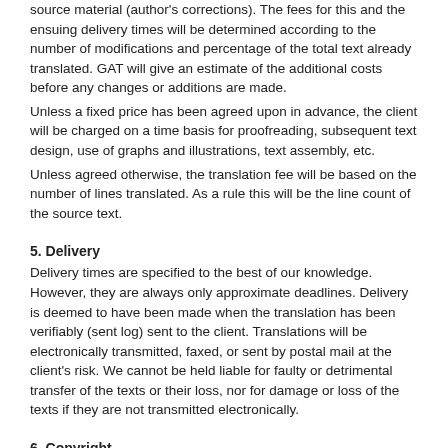source material (author's corrections). The fees for this and the ensuing delivery times will be determined according to the number of modifications and percentage of the total text already translated. GAT will give an estimate of the additional costs before any changes or additions are made.
Unless a fixed price has been agreed upon in advance, the client will be charged on a time basis for proofreading, subsequent text design, use of graphs and illustrations, text assembly, etc.
Unless agreed otherwise, the translation fee will be based on the number of lines translated. As a rule this will be the line count of the source text.
5. Delivery
Delivery times are specified to the best of our knowledge. However, they are always only approximate deadlines. Delivery is deemed to have been made when the translation has been verifiably (sent log) sent to the client. Translations will be electronically transmitted, faxed, or sent by postal mail at the client's risk. We cannot be held liable for faulty or detrimental transfer of the texts or their loss, nor for damage or loss of the texts if they are not transmitted electronically.
6. Copyright
GAT guarantees that the client may use the translation at any time, anywhere, and any number of times for the purpose stated when ordering. The client may also modify the translation and transfer any translation rights to a third party by way of license or other means.
GAT will protect the client from any claim on the part of the translator. The copyright and the user rights will be transferred to the client only after the invoice has been settled in full. The client guarantees and confirms that